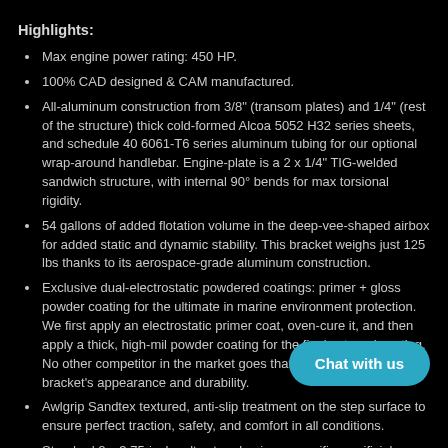Highlights:
Max engine power rating: 450 HP.
100% CAD designed & CAM manufactured.
All-aluminum construction from 3/8" (transom plates) and 1/4" (rest of the structure) thick cold-formed Alcoa 5052 H32 series sheets, and schedule 40 6061-T6 series aluminum tubing for our optional wrap-around handlebar. Engine-plate is a 2 x 1/4" TIG-welded sandwich structure, with internal 90° bends for max torsional rigidity.
54 gallons of added flotation volume in the deep-vee-shaped airbox for added static and dynamic stability. This bracket weighs just 125 lbs thanks to its aerospace-grade aluminum construction.
Exclusive dual-electrostatic powdered coatings: primer + gloss powder coating for the ultimate in marine environment protection. We first apply an electrostatic primer coat, oven-cure it, and then apply a thick, high-mil powder coating for the final external coating. No other competitor in the market goes that far to ensure your new bracket's appearance and durability.
Awlgrip Sandtex textured, anti-slip treatment on the step surface to ensure perfect traction, safety, and comfort in all conditions.
Standard 2 x 3.75-inch saltwater aluminum specific sacrificial anodes (zincs).